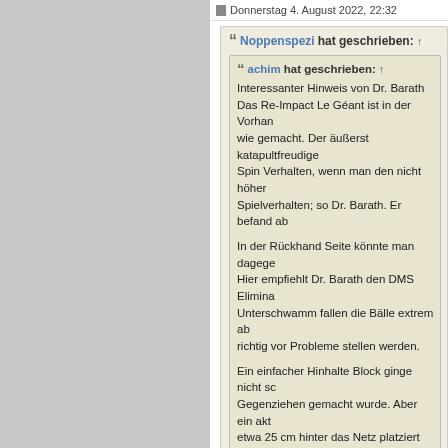Donnerstag 4. August 2022, 22:32
Noppenspezi hat geschrieben: ↑
achim hat geschrieben: ↑
Interessanter Hinweis von Dr. Barath
Das Re-Impact Le Géant ist in der Vorhand wie gemacht. Der äußerst katapultfreudige Spin Verhalten, wenn man den nicht höher Spielverhalten; so Dr. Barath. Er befand ab

In der Rückhand Seite könnte man dagege Hier empfiehlt Dr. Barath den DMS Elimina Unterschwamm fallen die Bälle extrem ab richtig vor Probleme stellen werden.

Ein einfacher Hinhalte Block ginge nicht so Gegenziehen gemacht wurde. Aber ein ak etwa 25 cm hinter das Netz platziert werde Aber was sehr gut geht, ist das Schussver und sehr flach mit dem Elimination extra lo wie auf keinem Holz der üblichen Wettkam wirkliches Highlight anzusehen. Auch Boge

Fazit: